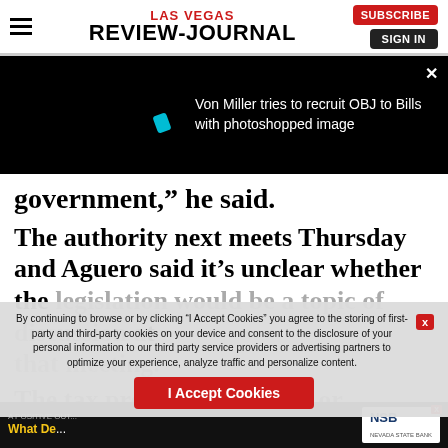Las Vegas Review-Journal
[Figure (screenshot): Video thumbnail with teal dot and text: Von Miller tries to recruit OBJ to Bills with photoshopped image]
government," he said.
The authority next meets Thursday and Aguero said it's unclear whether the legislation would be a topic of discussion at that meeting.
The tax provisi... ricken or
By continuing to browse or by clicking “I Accept Cookies” you agree to the storing of first-party and third-party cookies on your device and consent to the disclosure of your personal information to our third party service providers or advertising partners to optimize your experience, analyze traffic and personalize content.
[Figure (screenshot): Advertisement banner: A Positive Out... What De... NSB Nevada State Bank]